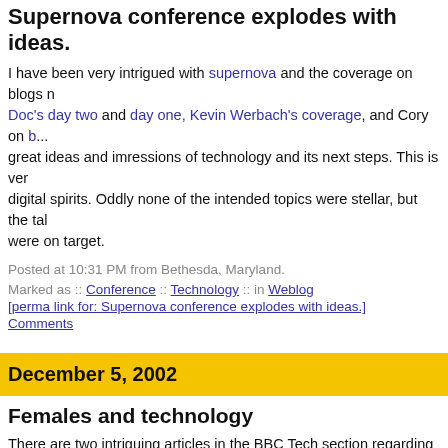Supernova conference explodes with ideas.
I have been very intrigued with supernova and the coverage on blogs ... Doc's day two and day one, Kevin Werbach's coverage, and Cory on b... great ideas and imressions of technology and its next steps. This is ve... digital spirits. Oddly none of the intended topics were stellar, but the ta... were on target.
Posted at 10:31 PM from Bethesda, Maryland.
Marked as :: Conference :: Technology :: in Weblog
[perma link for: Supernova conference explodes with ideas.]
Comments
December 5, 2002
Females and technology
There are two intriguing articles in the BBC Tech section regarding fem... covering Women as Africa's new tech warriors and another looking at ... from building Lego robots. The second article brought out a particularly... girls tend to build the robots in a social manner and tend to script a sto... male groups had one lead that moved the tasks forward. I tend to think... slightly better, in that it involves thinking through scenarios, which is a... interaction designers, and user-centered designers do. It is along the li... ...